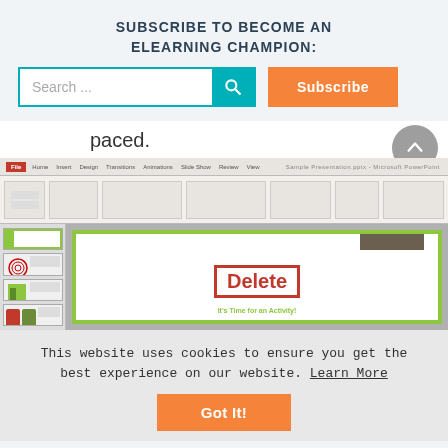SUBSCRIBE TO BECOME AN ELEARNING CHAMPION:
[Figure (screenshot): Search bar with teal search icon button, and orange Subscribe button]
paced.
[Figure (screenshot): Microsoft PowerPoint screenshot showing slide panel on left with green-themed slides and main editing area with a slide containing a red Delete box overlay and text 'It's Time for an Activity!']
This website uses cookies to ensure you get the best experience on our website. Learn More
[Figure (other): Orange 'Got It!' button]